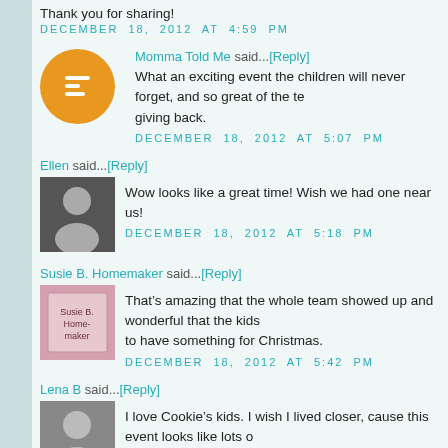Thank you for sharing!
DECEMBER 18, 2012 AT 4:59 PM
Momma Told Me said...[Reply]
What an exciting event the children will never forget, and so great of the te... giving back.
DECEMBER 18, 2012 AT 5:07 PM
Ellen said...[Reply]
Wow looks like a great time! Wish we had one near us!
DECEMBER 18, 2012 AT 5:18 PM
Susie B. Homemaker said...[Reply]
That’s amazing that the whole team showed up and wonderful that the kids... to have something for Christmas.
DECEMBER 18, 2012 AT 5:42 PM
Lena B said...[Reply]
I love Cookie’s kids. I wish I lived closer, cause this event looks like lots o...